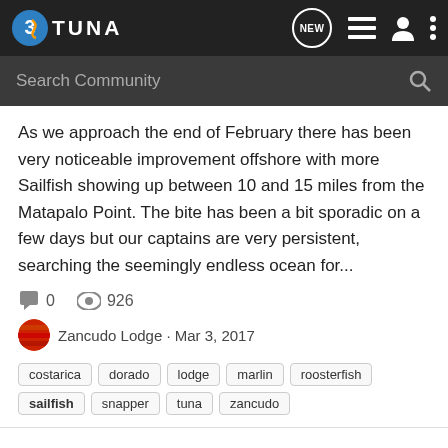360 TUNA
As we approach the end of February there has been very noticeable improvement offshore with more Sailfish showing up between 10 and 15 miles from the Matapalo Point. The bite has been a bit sporadic on a few days but our captains are very persistent, searching the seemingly endless ocean for...
0  926
Zancudo Lodge · Mar 3, 2017
costarica  dorado  lodge  marlin  roosterfish  sailfish  snapper  tuna  zancudo
Sailfish Bite is On! Fishing Report (19-26 Jan 2017)
South of the Border